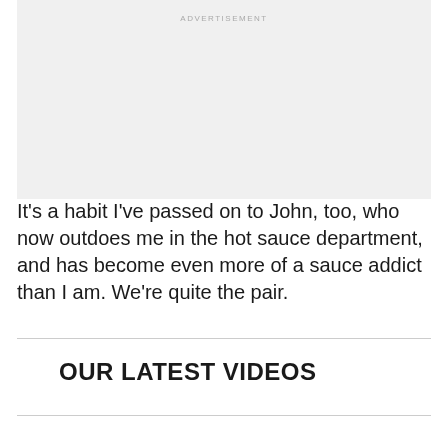[Figure (other): Advertisement placeholder box with light gray background and 'ADVERTISEMENT' label at top center]
It's a habit I've passed on to John, too, who now outdoes me in the hot sauce department, and has become even more of a sauce addict than I am. We're quite the pair.
OUR LATEST VIDEOS